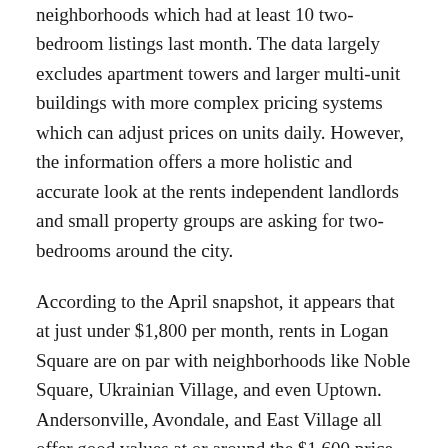neighborhoods which had at least 10 two-bedroom listings last month. The data largely excludes apartment towers and larger multi-unit buildings with more complex pricing systems which can adjust prices on units daily. However, the information offers a more holistic and accurate look at the rents independent landlords and small property groups are asking for two-bedrooms around the city.
According to the April snapshot, it appears that at just under $1,800 per month, rents in Logan Square are on par with neighborhoods like Noble Square, Ukrainian Village, and even Uptown. Andersonville, Avondale, and East Village all offer good values at or around the $1,600 price point. However, Pilsen, Bronzeville, and Albany Park feature some of the lowest rents listed on the map.